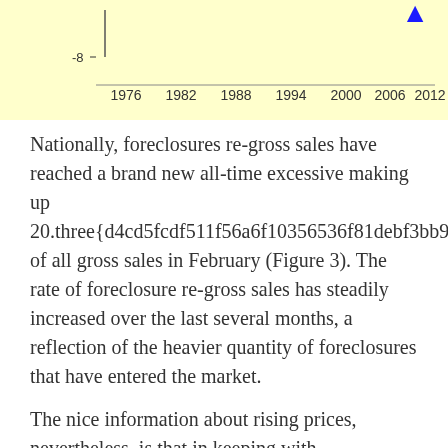[Figure (continuous-plot): Bottom portion of a line chart showing data from 1976 to 2012, with y-axis label '-8' visible, and a blue data point visible at the far right near 2012. X-axis labels: 1976, 1982, 1988, 1994, 2000, 2006, 2012.]
Nationally, foreclosures re-gross sales have reached a brand new all-time excessive making up 20.three{d4cd5fcdf511f56a6f10356536f81debf3bb9182b8c191aef988f8510a11d263} of all gross sales in February (Figure 3). The rate of foreclosure re-gross sales has steadily increased over the last several months, a reflection of the heavier quantity of foreclosures that have entered the market.
The nice information about rising prices, nevertheless, is that in keeping with CoreLogic's latest US Economic Outlook, the average American family gained over $eleven,000 in equity over the course of the last yr, largely as a